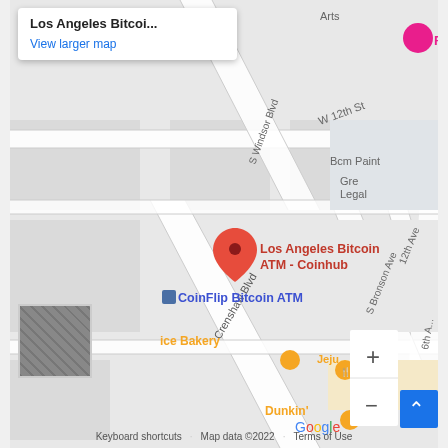[Figure (map): Google Maps screenshot showing Los Angeles Bitcoin ATM - Coinhub location near Crenshaw Blvd intersection, with CoinFlip Bitcoin ATM nearby. Streets visible: W 12th St, S Windsor Blvd, Crenshaw Blvd, S Bronson Ave, 12th Ave, 6th Ave. POIs: Jeju restaurant, ice Bakery, Dunkin, Friends hotel. Zoom controls and street view thumbnail visible.]
Los Angeles Bitcoi...
View larger map
Keyboard shortcuts  Map data ©2022  Terms of Use